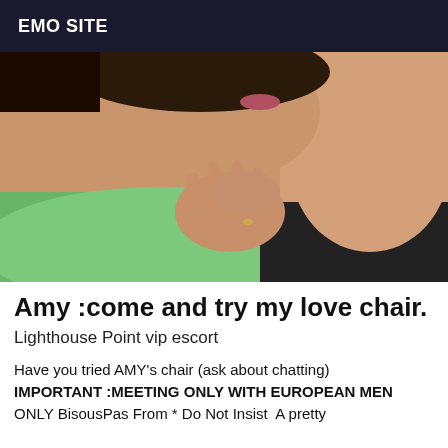EMO SITE
[Figure (photo): Close-up photo of a woman lying on a green surface, resting her chin on her hand, wearing a black top. The image is cropped showing her face partially, neck, and upper chest area.]
Amy :come and try my love chair.
Lighthouse Point vip escort
Have you tried AMY's chair (ask about chatting) IMPORTANT :MEETING ONLY WITH EUROPEAN MEN ONLY Bisous​Pas From * Do Not Insist ​ A pretty